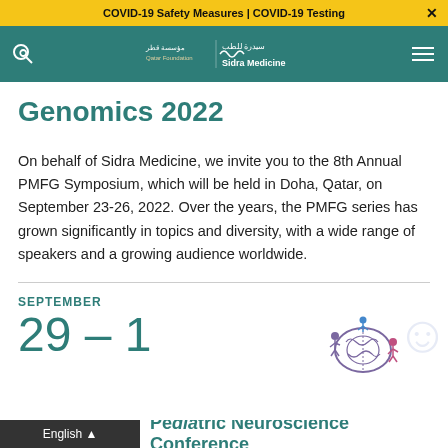COVID-19 Safety Measures | COVID-19 Testing
[Figure (logo): Sidra Medicine and Qatar Foundation logo in teal navigation bar]
Genomics 2022
On behalf of Sidra Medicine, we invite you to the 8th Annual PMFG Symposium, which will be held in Doha, Qatar, on September 23-26, 2022. Over the years, the PMFG series has grown significantly in topics and diversity, with a wide range of speakers and a growing audience worldwide.
SEPTEMBER
29 – 1
[Figure (illustration): Brain illustration with small colorful human figures around it]
English
Pediatric Neuroscience Conference